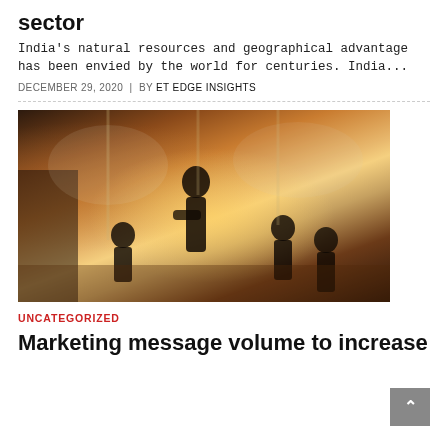sector
India's natural resources and geographical advantage has been envied by the world for centuries. India...
DECEMBER 29, 2020 | BY ET EDGE INSIGHTS
[Figure (photo): Business meeting silhouette with people seated and one person standing, backlit by large windows with a sunrise/sunset and world map overlay in warm golden tones.]
UNCATEGORIZED
Marketing message volume to increase